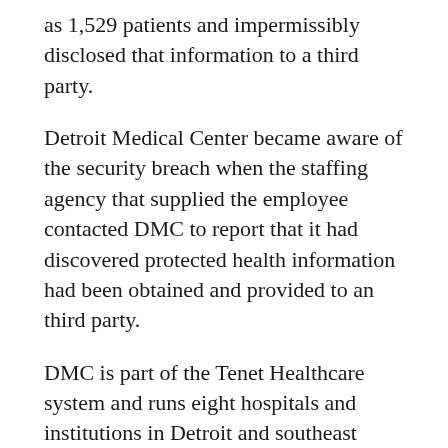as 1,529 patients and impermissibly disclosed that information to a third party.
Detroit Medical Center became aware of the security breach when the staffing agency that supplied the employee contacted DMC to report that it had discovered protected health information had been obtained and provided to an third party.
DMC is part of the Tenet Healthcare system and runs eight hospitals and institutions in Detroit and southeast Michigan. DMC has not released information on the specific medical center where the employee worked or that individual's role.
The types of information that were stolen and disclosed were also not made public. However, DMC has issued a statement confirming the data theft and disclosure have been reported to law enforcement and